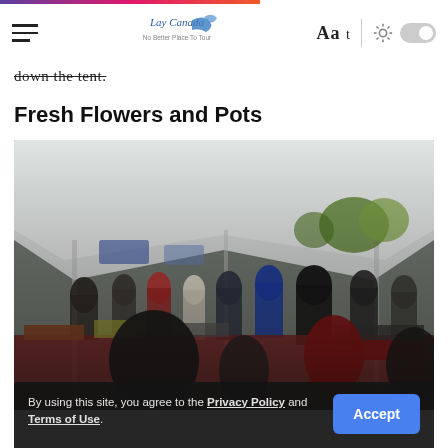Lay Canada — No Better Place To Tour  |  Aa t  |  [sun icon] [toggle]
down the tent.
Fresh Flowers and Pots
[Figure (photo): Outdoor farmers market under a large white tent. Many people browsing vendor stalls. Vendor tables with products, red tablecloths visible in foreground. Trees visible in background outside the tent.]
By using this site, you agree to the Privacy Policy and Terms of Use.